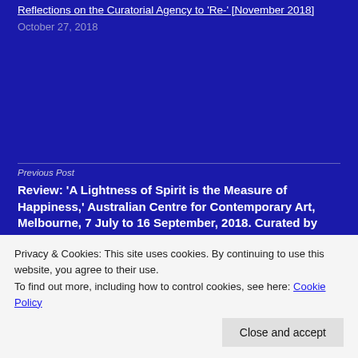Reflections on the Curatorial Agency to 'Re-' [November 2018]
October 27, 2018
Previous Post
Review: 'A Lightness of Spirit is the Measure of Happiness,' Australian Centre for Contemporary Art, Melbourne, 7 July to 16 September, 2018. Curated by Hannah Presley [August 2018]
Next Post
Privacy & Cookies: This site uses cookies. By continuing to use this website, you agree to their use.
To find out more, including how to control cookies, see here: Cookie Policy
Close and accept